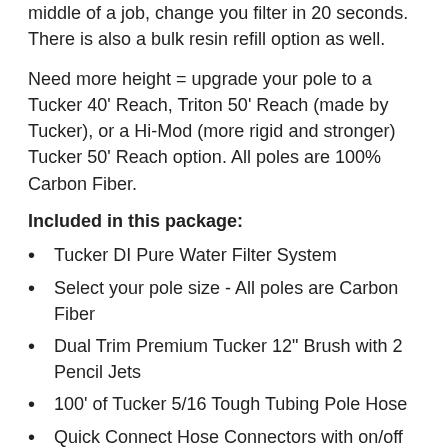middle of a job, change you filter in 20 seconds. There is also a bulk resin refill option as well.
Need more height = upgrade your pole to a Tucker 40' Reach, Triton 50' Reach (made by Tucker), or a Hi-Mod (more rigid and stronger) Tucker 50' Reach option. All poles are 100% Carbon Fiber.
Included in this package:
Tucker DI Pure Water Filter System
Select your pole size - All poles are Carbon Fiber
Dual Trim Premium Tucker 12" Brush with 2 Pencil Jets
100' of Tucker 5/16 Tough Tubing Pole Hose
Quick Connect Hose Connectors with on/off valve
TDS Meter to measure water quality
** Add the optional 100' Premium 3/8 Hose and Reel to your package and save more